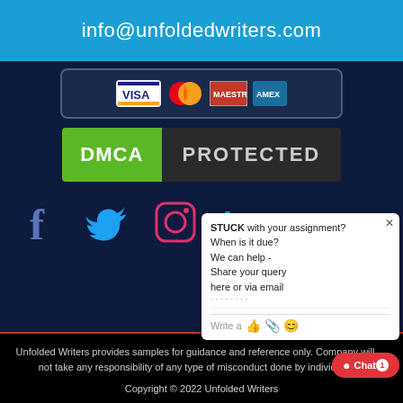info@unfoldedwriters.com
[Figure (other): Payment method icons: Visa, Mastercard, and other credit card logos in a bordered box]
[Figure (other): DMCA PROTECTED badge with green DMCA label on left and dark PROTECTED text on right]
[Figure (other): Social media icons: Facebook (f), Twitter (bird), Instagram (camera), LinkedIn (in)]
Unfolded Writers provides samples for guidance and reference only. Company will not take any responsibility of any type of misconduct done by individual.
Copyright © 2022 Unfolded Writers
STUCK with your assignment? When is it due? We can help - Share your query here or via email
Write a ...